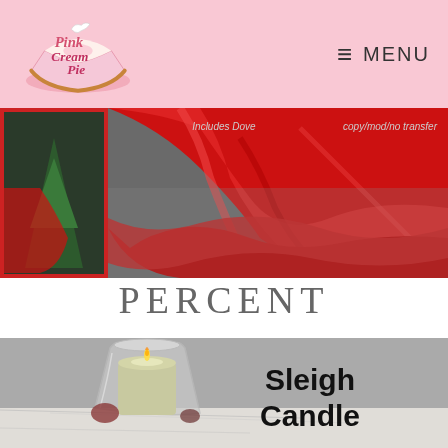Pink Cream Pie — MENU
[Figure (photo): Red satin cloth/cape product photo with thumbnail on the left bordered in red. Text overlays: 'Includes Dove' and 'copy/mod/no transfer']
PERCENT
[Figure (photo): Product photo of a Sleigh Candle — a white pillar candle in a frosted glass vase on a marble surface. Text overlay reads 'Sleigh Candle' in bold black.]